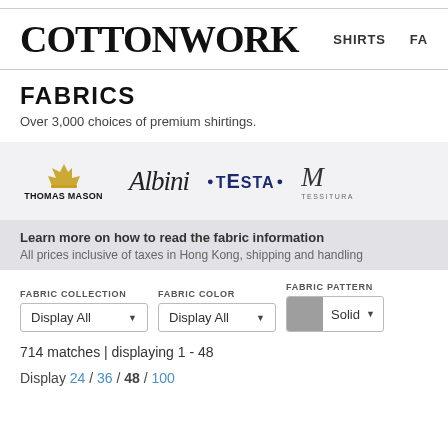COTTONWORK | SHIRTS | FA...
FABRICS
Over 3,000 choices of premium shirtings.
[Figure (logo): Brand logos: Thomas Mason, Albini, Testa, Tessitura (partial)]
Learn more on how to read the fabric information
All prices inclusive of taxes in Hong Kong, shipping and handling
FABRIC COLLECTION: Display All | FABRIC COLOR: Display All | FABRIC PATTERN: Solid
714 matches | displaying 1 - 48
Display 24 / 36 / 48 / 100